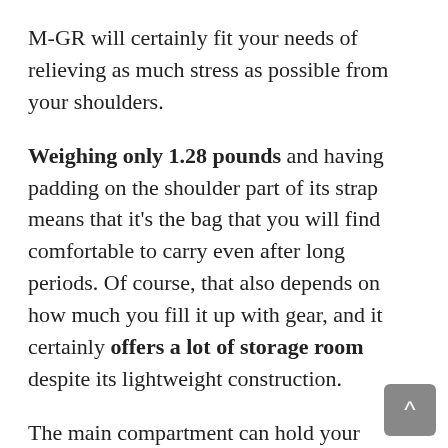M-GR will certainly fit your needs of relieving as much stress as possible from your shoulders.
Weighing only 1.28 pounds and having padding on the shoulder part of its strap means that it's the bag that you will find comfortable to carry even after long periods. Of course, that also depends on how much you fill it up with gear, and it certainly offers a lot of storage room despite its lightweight construction.
The main compartment can hold your camera, a couple of lenses, and a mid-sized tablet, while pockets on the front of the bag will be perfect for